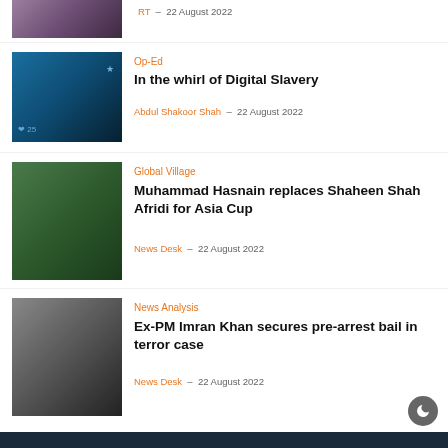[Figure (photo): Partial thumbnail of a woman in traditional clothing (top of page, cropped)]
RT - 22 August 2022
[Figure (photo): Laptop keyboard with social media icons/emojis floating above]
Op-Ed
In the whirl of Digital Slavery
Abdul Shakoor Shah - 22 August 2022
[Figure (photo): Two Pakistan cricket players, one bowling]
Global Village
Muhammad Hasnain replaces Shaheen Shah Afridi for Asia Cup
News Desk - 22 August 2022
[Figure (photo): Portrait of Imran Khan in dark suit]
News Analysis
Ex-PM Imran Khan secures pre-arrest bail in terror case
News Desk - 22 August 2022